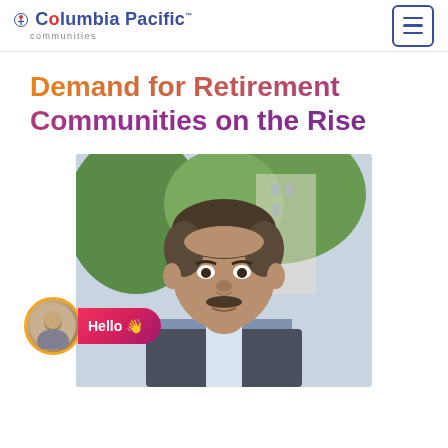Columbia Pacific™ communities
Demand for Retirement Communities on the Rise
[Figure (photo): Portrait photo of a middle-aged man wearing a suit and tie, with a blurred outdoor background. A chat widget overlay with a female avatar and 'Hello 👋' text is visible at the bottom left of the image.]